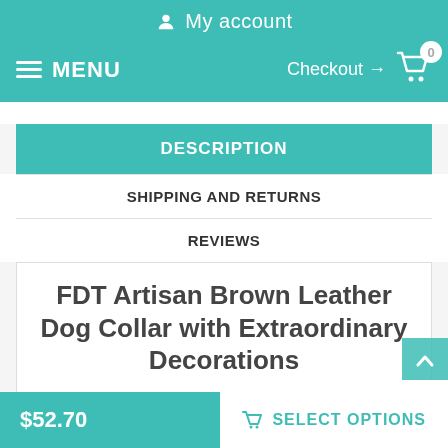My account
MENU  Checkout → 0
DESCRIPTION
SHIPPING AND RETURNS
REVIEWS
FDT Artisan Brown Leather Dog Collar with Extraordinary Decorations
Are you fond of stylish accessories? Let your favourite dog enjoy wearing such collars on! Purchase this trendy leather dog collar with decorations from FDT Artisan. This gear is made for those
$52.70
SELECT OPTIONS